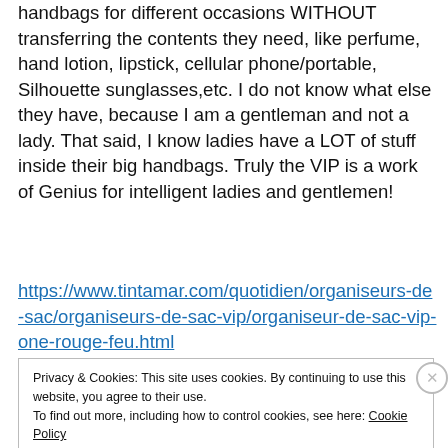handbags for different occasions WITHOUT transferring the contents they need, like perfume, hand lotion, lipstick, cellular phone/portable, Silhouette sunglasses,etc. I do not know what else they have, because I am a gentleman and not a lady. That said, I know ladies have a LOT of stuff inside their big handbags. Truly the VIP is a work of Genius for intelligent ladies and gentlemen!
https://www.tintamar.com/quotidien/organiseurs-de-sac/organiseurs-de-sac-vip/organiseur-de-sac-vip-one-rouge-feu.html
Privacy & Cookies: This site uses cookies. By continuing to use this website, you agree to their use.
To find out more, including how to control cookies, see here: Cookie Policy